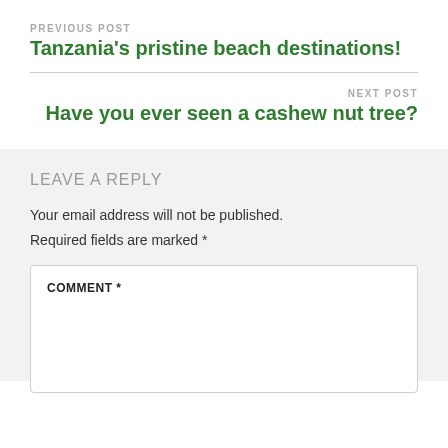PREVIOUS POST
Tanzania's pristine beach destinations!
NEXT POST
Have you ever seen a cashew nut tree?
LEAVE A REPLY
Your email address will not be published. Required fields are marked *
COMMENT *